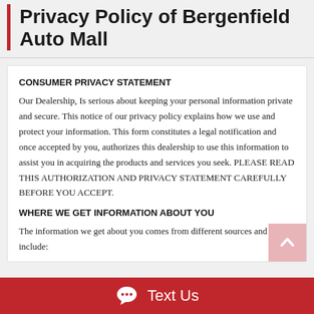Privacy Policy of Bergenfield Auto Mall
CONSUMER PRIVACY STATEMENT
Our Dealership, Is serious about keeping your personal information private and secure. This notice of our privacy policy explains how we use and protect your information. This form constitutes a legal notification and once accepted by you, authorizes this dealership to use this information to assist you in acquiring the products and services you seek. PLEASE READ THIS AUTHORIZATION AND PRIVACY STATEMENT CAREFULLY BEFORE YOU ACCEPT.
WHERE WE GET INFORMATION ABOUT YOU
The information we get about you comes from different sources and may include: